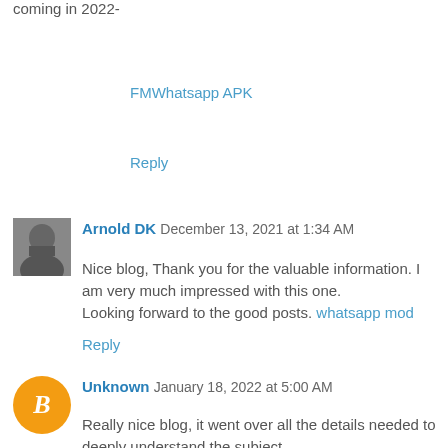coming in 2022-
FMWhatsapp APK
Reply
Arnold DK  December 13, 2021 at 1:34 AM
Nice blog, Thank you for the valuable information. I am very much impressed with this one.
Looking forward to the good posts. whatsapp mod
Reply
Unknown  January 18, 2022 at 5:00 AM
Really nice blog, it went over all the details needed to deeply understand the subject.